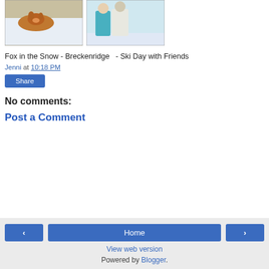[Figure (photo): Two side-by-side photos: left shows a fox in the snow, right shows two people in ski gear]
Fox in the Snow - Breckenridge  - Ski Day with Friends
Jenni at 10:18 PM
Share
No comments:
Post a Comment
‹  Home  ›  View web version  Powered by Blogger.